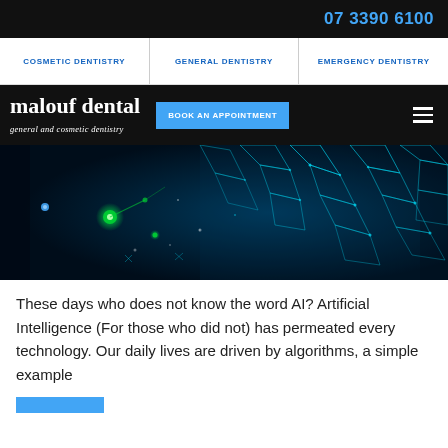07 3390 6100
COSMETIC DENTISTRY | GENERAL DENTISTRY | EMERGENCY DENTISTRY
malouf dental general and cosmetic dentistry — BOOK AN APPOINTMENT
[Figure (photo): Digital wireframe/polygonal art showing human figure with glowing teal geometric lines on dark blue background, with green glowing orbs, representing AI or technology theme.]
These days who does not know the word AI? Artificial Intelligence (For those who did not) has permeated every technology. Our daily lives are driven by algorithms, a simple example